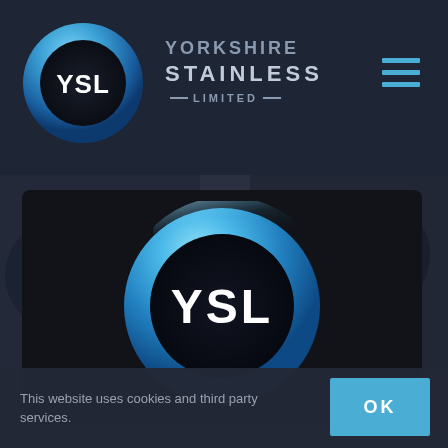[Figure (logo): Yorkshire Stainless Limited (YSL) logo — circular blue gradient ring with white YSL letters on dark background, in header]
YORKSHIRE STAINLESS LIMITED
[Figure (logo): Large YSL circular logo centered on dark card in hero section — blue gradient ring with white YSL text on black background]
This website uses cookies and third party services.
OK